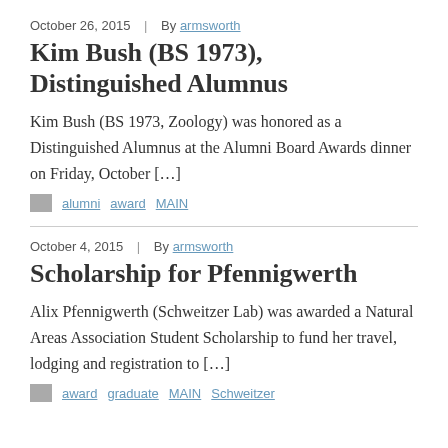October 26, 2015  |  By armsworth
Kim Bush (BS 1973), Distinguished Alumnus
Kim Bush (BS 1973, Zoology) was honored as a Distinguished Alumnus at the Alumni Board Awards dinner on Friday, October […]
alumni  award  MAIN
October 4, 2015  |  By armsworth
Scholarship for Pfennigwerth
Alix Pfennigwerth (Schweitzer Lab) was awarded a Natural Areas Association Student Scholarship to fund her travel, lodging and registration to […]
award  graduate  MAIN  Schweitzer